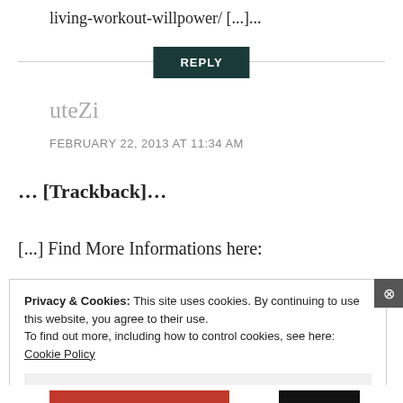living-workout-willpower/ [...]...
REPLY
uteZi
FEBRUARY 22, 2013 AT 11:34 AM
... [Trackback]...
[...] Find More Informations here:
Privacy & Cookies: This site uses cookies. By continuing to use this website, you agree to their use.
To find out more, including how to control cookies, see here: Cookie Policy
Close and accept